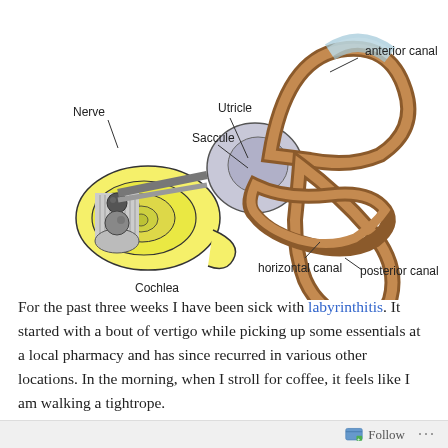[Figure (illustration): Anatomical diagram of the inner ear labyrinth showing labeled structures: anterior canal (top), Nerve (left), Utricle (center-left), Saccule (center), horizontal canal (bottom center), Cochlea (bottom left), posterior canal (right). The diagram shows the semicircular canals in brown/tan, the vestibule in gray, the cochlea in yellow, and the nerve fibers on the left.]
For the past three weeks I have been sick with labyrinthitis. It started with a bout of vertigo while picking up some essentials at a local pharmacy and has since recurred in various other locations. In the morning, when I stroll for coffee, it feels like I am walking a tightrope.
Follow